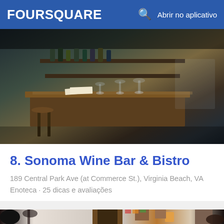FOURSQUARE  Abrir no aplicativo
[Figure (photo): Interior photo of a wine bar showing a wooden bar counter with wine glasses, bottles on shelves, and bar seating.]
8. Sonoma Wine Bar & Bistro
189 Central Park Ave (at Commerce St.), Virginia Beach, VA
Enoteca · 25 dicas e avaliações
[Figure (photo): Interior photo of a restaurant with decorative posters on white walls, wall sconces with warm lighting, and a dark tree mural.]